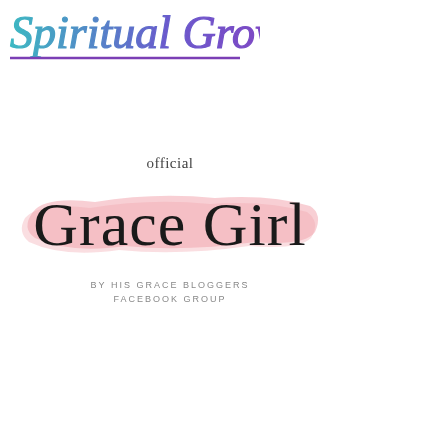[Figure (logo): Partial script logo reading 'Spiritual Growth' in teal/blue script font with a purple underline, cropped at top of page]
[Figure (logo): Official Grace Girl badge: word 'official' in serif above 'Grace Girl' in large black script font overlaid on a pink watercolor brush stroke, below which reads 'BY HIS GRACE BLOGGERS FACEBOOK GROUP' in small spaced caps]